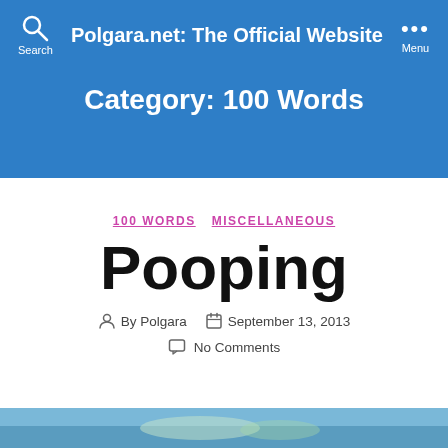Polgara.net: The Official Website
Category: 100 Words
100 WORDS  MISCELLANEOUS
Pooping
By Polgara  September 13, 2013  No Comments